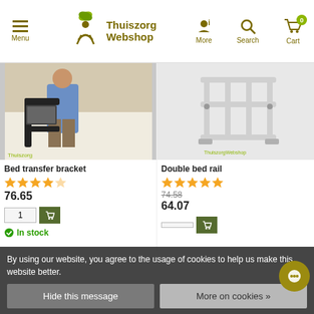Menu | Thuiszorg Webshop | More | Search | Cart 0
[Figure (photo): Person sitting on bed holding a black bed transfer bracket with storage pocket]
[Figure (photo): White double bed rail product on white background with ThuiszorgWebshop watermark]
Bed transfer bracket
Double bed rail
★★★★★ (4.5 stars) — Bed transfer bracket rating
★★★★★ (5 stars) — Double bed rail rating
76.65
74.58
64.07
1
In stock
By using our website, you agree to the usage of cookies to help us make this website better.
Hide this message
More on cookies »